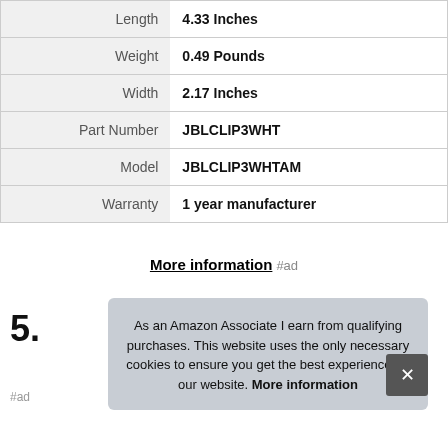| Attribute | Value |
| --- | --- |
| Length | 4.33 Inches |
| Weight | 0.49 Pounds |
| Width | 2.17 Inches |
| Part Number | JBLCLIP3WHT |
| Model | JBLCLIP3WHTAM |
| Warranty | 1 year manufacturer |
More information #ad
5.
#ad
As an Amazon Associate I earn from qualifying purchases. This website uses the only necessary cookies to ensure you get the best experience on our website. More information